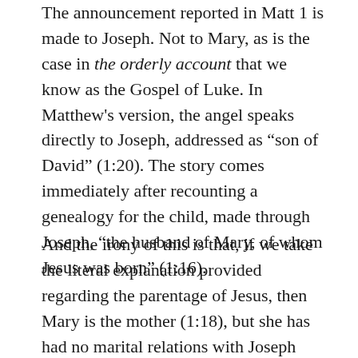The announcement reported in Matt 1 is made to Joseph. Not to Mary, as is the case in the orderly account that we know as the Gospel of Luke. In Matthew's version, the angel speaks directly to Joseph, addressed as “son of David” (1:20). The story comes immediately after recounting a genealogy for the child, made through Joseph, “the husband of Mary, of whom Jesus was born” (1:16).
And the irony of this is that, if we take the literal explanation provided regarding the parentage of Jesus, then Mary is the mother (1:18), but she has had no marital relations with Joseph (1:25). Joseph is not presented as the “natural father”. And the citation of the prophetic oracle is intended to align Mary, the mother, with the virgin who shall conceive (1:23).